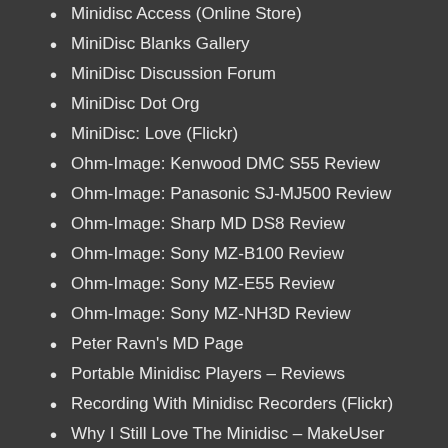Minidisc Access (Online Store)
MiniDisc Blanks Gallery
MiniDisc Discussion Forum
MiniDisc Dot Org
MiniDisc: Love (Flickr)
Ohm-Image: Kenwood DMC S55 Review
Ohm-Image: Panasonic SJ-MJ500 Review
Ohm-Image: Sharp MD DS8 Review
Ohm-Image: Sony MZ-B100 Review
Ohm-Image: Sony MZ-E55 Review
Ohm-Image: Sony MZ-NH3D Review
Peter Ravn's MD Page
Portable Minidisc Players – Reviews
Recording With Minidisc Recorders (Flickr)
Why I Still Love The Minidisc – MakeUser
MODEL ROCKETRY
Apogee Components
Barnard Propulsion Systems
Beginner's Guide to Model Rockets (NASA)